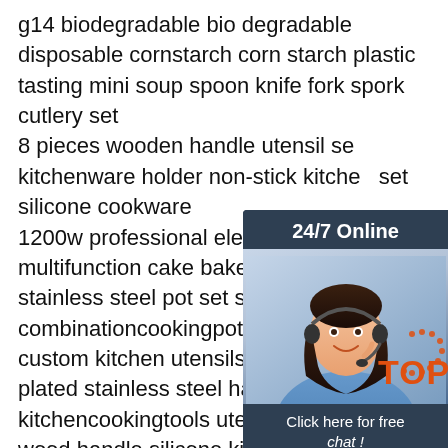g14 biodegradable bio degradable disposable cornstarch corn starch plastic tasting mini soup spoon knife fork spork cutlery set
8 pieces wooden handle utensil set kitchenware holder non-stick kitchen set silicone cookware
1200w professional electric kitchen robot multifunction cake baker stand hot stainless steel pot set steamer combinationcookingpot cast iron co spot custom kitchen utensils whole copper plated stainless steel handle 7pcs silicone kitchencookingtools utensils set
wood handle silicone kitchen utensils 11 sets
non-stick pan shovel kitchen utensils set 11 sets
[Figure (other): 24/7 Online customer service chat widget with a photo of a woman wearing a headset, a 'Click here for free chat!' message, and an orange QUOTATION button]
[Figure (logo): Orange and red 'TOP' badge/logo in bottom right corner]